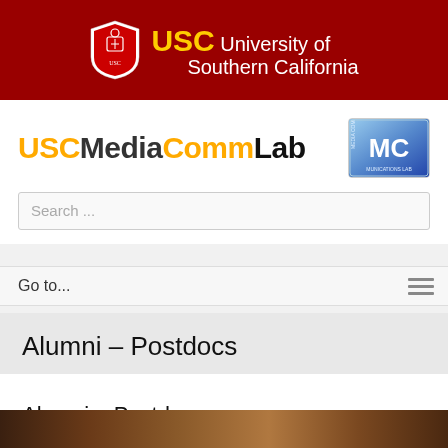[Figure (logo): USC University of Southern California header logo on dark red background]
USCMediaCommLab
[Figure (logo): MC Media Communications Lab logo badge]
Search ...
Go to...
Alumni – Postdocs
Alumni – Postdocs
[Figure (photo): Partial photo visible at bottom of page]